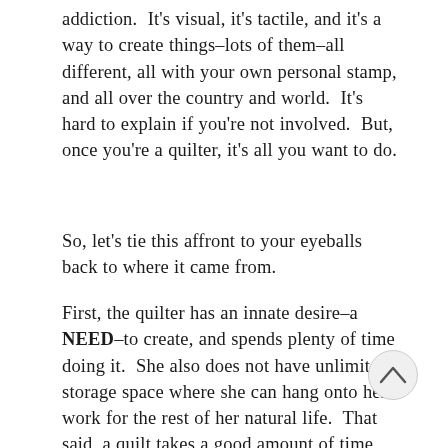addiction. It's visual, it's tactile, and it's a way to create things–lots of them–all different, all with your own personal stamp, and all over the country and world. It's hard to explain if you're not involved. But, once you're a quilter, it's all you want to do.
So, let's tie this affront to your eyeballs back to where it came from.
First, the quilter has an innate desire–a NEED–to create, and spends plenty of time doing it. She also does not have unlimited storage space where she can hang onto her work for the rest of her natural life. That said, a quilt takes a good amount of time and monetary investment to create. You were chosen as a recipient NOT